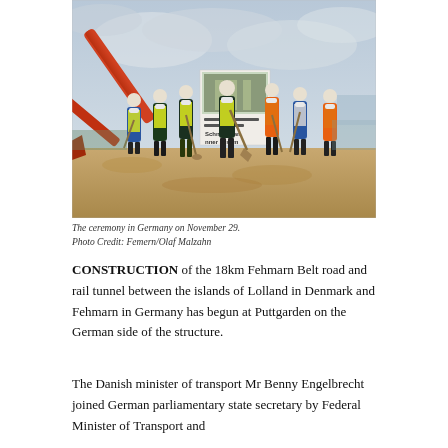[Figure (photo): Groundbreaking ceremony at Puttgarden, Germany. Several people in high-visibility jackets and hard hats hold shovels on a construction site with a large excavator arm visible on the left and a sign board in the background. The sky is overcast.]
The ceremony in Germany on November 29.
Photo Credit: Femern/Olaf Malzahn
CONSTRUCTION of the 18km Fehmarn Belt road and rail tunnel between the islands of Lolland in Denmark and Fehmarn in Germany has begun at Puttgarden on the German side of the structure.
The Danish minister of transport Mr Benny Engelbrecht joined German parliamentary state secretary by Federal Minister of Transport and...